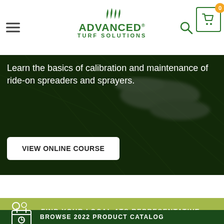[Figure (screenshot): Advanced Turf Solutions website navigation bar with hamburger menu, green logo, search icon, and cart icon with badge showing 0]
[Figure (photo): Hero image with dark overlay showing ride-on spreader spraying, with white text and button]
Learn the basics of calibration and maintenance of ride-on spreaders and sprayers.
VIEW ONLINE COURSE
[Figure (infographic): Light olive-green banner with people/search icon and text: FIND YOUR LOCAL ATS REPRESENTATIVE]
[Figure (infographic): Dark green banner with calendar icon and text: BROWSE 2022 PRODUCT CATALOG]